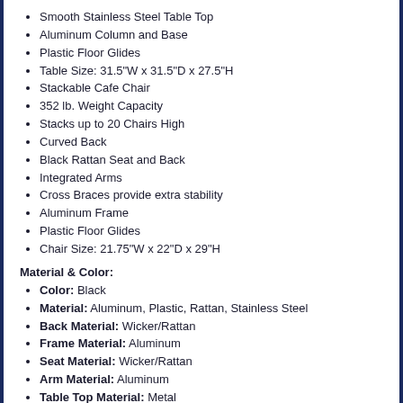Smooth Stainless Steel Table Top
Aluminum Column and Base
Plastic Floor Glides
Table Size: 31.5"W x 31.5"D x 27.5"H
Stackable Cafe Chair
352 lb. Weight Capacity
Stacks up to 20 Chairs High
Curved Back
Black Rattan Seat and Back
Integrated Arms
Cross Braces provide extra stability
Aluminum Frame
Plastic Floor Glides
Chair Size: 21.75"W x 22"D x 29"H
Material & Color:
Color: Black
Material: Aluminum, Plastic, Rattan, Stainless Steel
Back Material: Wicker/Rattan
Frame Material: Aluminum
Seat Material: Wicker/Rattan
Arm Material: Aluminum
Table Top Material: Metal
Warranty: 5 Year Limited (non moving metal parts) 2 yr Parts
Product Dimensions:
Overall Dimensions: 31.5"W x 31.5"D x 27.5"H
Product Width: 31.5"W
Product Depth: 31.5"D
Product Height: 27.5"H